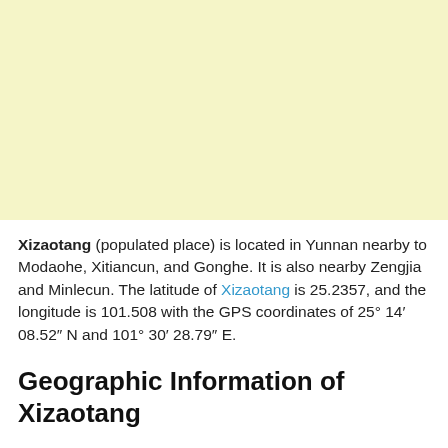[Figure (map): A light yellow map area showing the geographic region around Xizaotang in Yunnan, China.]
Xizaotang (populated place) is located in Yunnan nearby to Modaohe, Xitiancun, and Gonghe. It is also nearby Zengjia and Minlecun. The latitude of Xizaotang is 25.2357, and the longitude is 101.508 with the GPS coordinates of 25° 14′ 08.52″ N and 101° 30′ 28.79″ E.
Geographic Information of Xizaotang